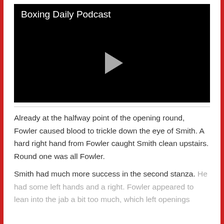[Figure (screenshot): Video player with black background showing 'Boxing Daily Podcast' title in white text and a grey play button triangle in the center]
Already at the halfway point of the opening round, Fowler caused blood to trickle down the eye of Smith. A hard right hand from Fowler caught Smith clean upstairs. Round one was all Fowler.
Smith had much more success in the second stanza. He had some left hands and a right. Fowler appeared to lean into the jab a bit too much, which left openings